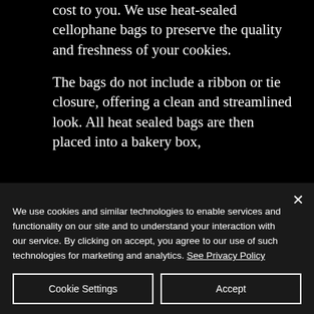cost to you. We use heat-sealed cellophane bags to preserve the quality and freshness of your cookies.
The bags do not include a ribbon or tie closure, offering a clean and streamlined look. All heat sealed bags are then placed into a bakery box,
We use cookies and similar technologies to enable services and functionality on our site and to understand your interaction with our service. By clicking on accept, you agree to our use of such technologies for marketing and analytics. See Privacy Policy
Cookie Settings
Accept